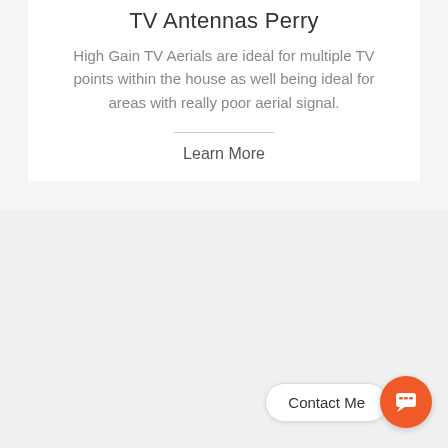TV Antennas Perry
High Gain TV Aerials are ideal for multiple TV points within the house as well being ideal for areas with really poor aerial signal.
Learn More
Contact Me